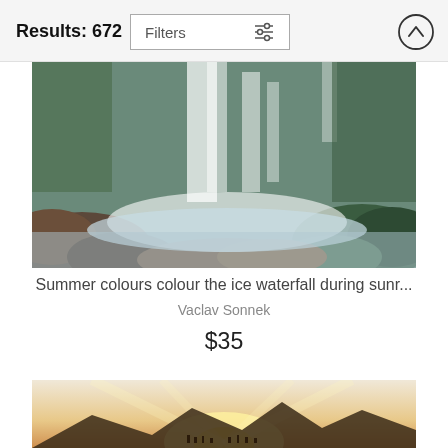Results: 672
Filters
[Figure (photo): Waterfall photo with blue-green tones, mossy rocks, flowing water]
Summer colours colour the ice waterfall during sunr...
Vaclav Sonnek
$35
[Figure (photo): Mountain sunrise photo with golden light rays over silhouetted mountains]